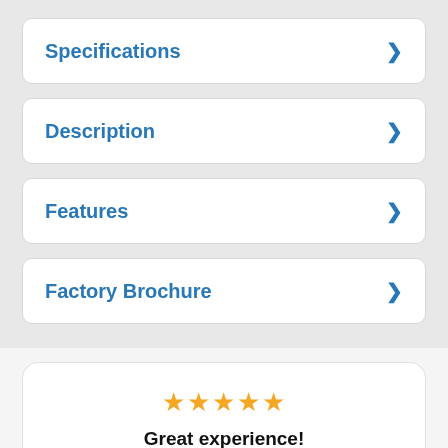Specifications
Description
Features
Factory Brochure
[Figure (infographic): Five gold star rating icons displayed in a row]
Great experience!
Hi Guys,